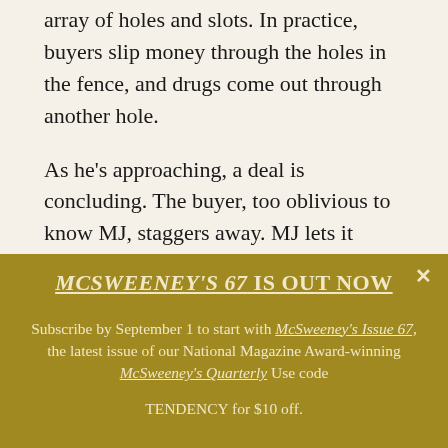array of holes and slots. In practice, buyers slip money through the holes in the fence, and drugs come out through another hole.
As he's approaching, a deal is concluding. The buyer, too oblivious to know MJ, staggers away. MJ lets it slide.
MJ pauses for a second, and time appears to slow
MCSWEENEY'S 67 IS OUT NOW
Subscribe by September 1 to start with McSweeney's Issue 67, the latest issue of our National Magazine Award-winning McSweeney's Quarterly Use code TENDENCY for $10 off.